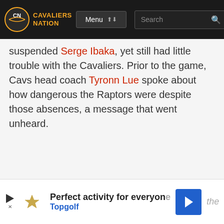Cavaliers Nation | Menu | Search
suspended Serge Ibaka, yet still had little trouble with the Cavaliers. Prior to the game, Cavs head coach Tyronn Lue spoke about how dangerous the Raptors were despite those absences, a message that went unheard.
[Figure (screenshot): Advertisement banner for Topgolf: 'Perfect activity for everyone' with Topgolf logo and blue navigation icon]